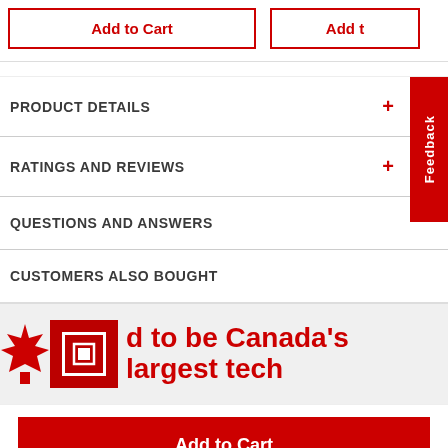Add to Cart
Add t
PRODUCT DETAILS +
RATINGS AND REVIEWS +
QUESTIONS AND ANSWERS
CUSTOMERS ALSO BOUGHT
Feedback
d to be Canada's largest tech
Add to Cart